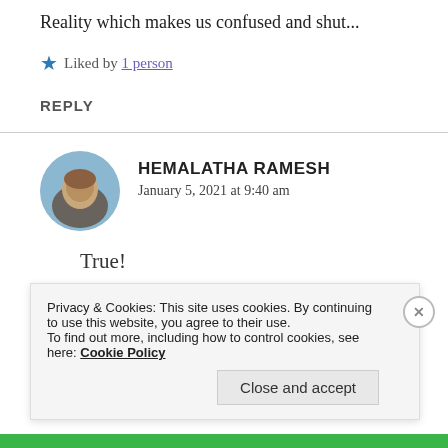Reality which makes us confused and shut...
★ Liked by 1 person
REPLY
HEMALATHA RAMESH
January 5, 2021 at 9:40 am
True!
Privacy & Cookies: This site uses cookies. By continuing to use this website, you agree to their use.
To find out more, including how to control cookies, see here: Cookie Policy
Close and accept